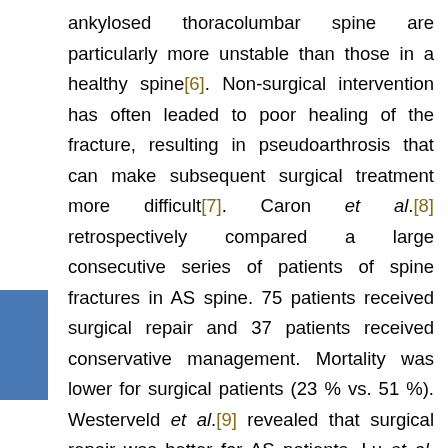ankylosed thoracolumbar spine are particularly more unstable than those in a healthy spine[6]. Non-surgical intervention has often leaded to poor healing of the fracture, resulting in pseudoarthrosis that can make subsequent surgical treatment more difficult[7]. Caron et al.[8] retrospectively compared a large consecutive series of patients of spine fractures in AS spine. 75 patients received surgical repair and 37 patients received conservative management. Mortality was lower for surgical patients (23 % vs. 51 %). Westerveld et al.[9] revealed that surgical repair was better for AS patients. Lu et al.[10] demonstrated that conservative treatment resulted mostly in pseudarthrosis and progressive neurologic deficit while surgical repair could achieve better fusion and